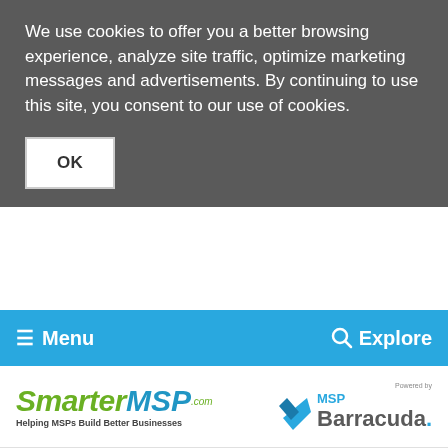We use cookies to offer you a better browsing experience, analyze site traffic, optimize marketing messages and advertisements. By continuing to use this site, you consent to our use of cookies.
OK
≡ Menu   🔍 Explore
[Figure (logo): SmarterMSP.com logo with tagline 'Helping MSPs Build Better Businesses']
[Figure (logo): Powered by MSP Barracuda logo]